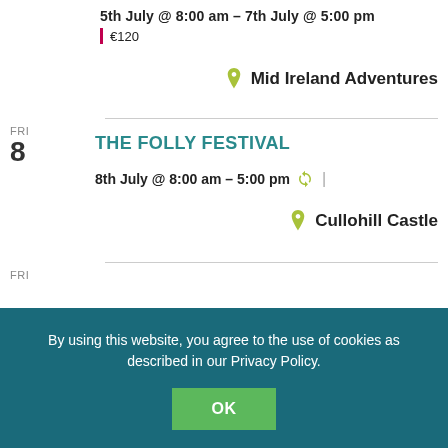5th July @ 8:00 am – 7th July @ 5:00 pm
€120
Mid Ireland Adventures
THE FOLLY FESTIVAL
8th July @ 8:00 am – 5:00 pm
Cullohill Castle
FRI
By using this website, you agree to the use of cookies as described in our Privacy Policy.
OK